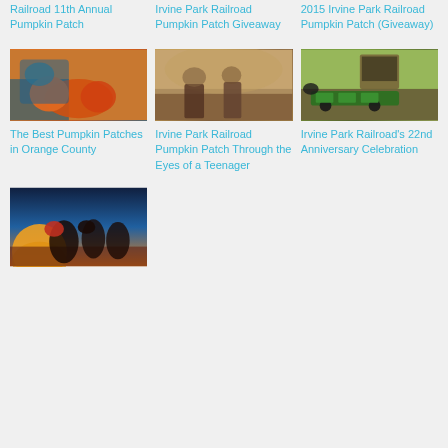Railroad 11th Annual Pumpkin Patch
Irvine Park Railroad Pumpkin Patch Giveaway
2015 Irvine Park Railroad Pumpkin Patch (Giveaway)
[Figure (photo): Children playing with pumpkins at a pumpkin patch]
The Best Pumpkin Patches in Orange County
[Figure (photo): People planting or gardening outdoors near stone structures]
Irvine Park Railroad Pumpkin Patch Through the Eyes of a Teenager
[Figure (photo): A green train at Irvine Park Railroad going through a tunnel with trees]
Irvine Park Railroad's 22nd Anniversary Celebration
[Figure (photo): Children in Halloween costumes including a pirate, devil, and witch at sunset]